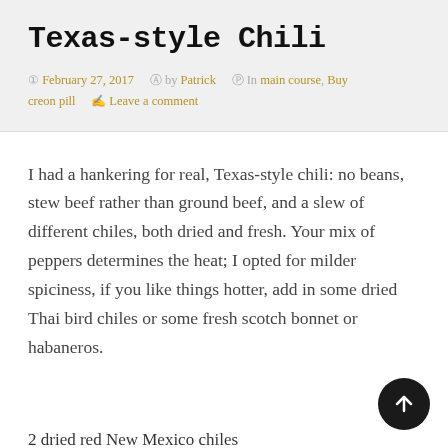Texas-style Chili
February 27, 2017   by Patrick   In main course, Buy creon pill   Leave a comment
I had a hankering for real, Texas-style chili: no beans, stew beef rather than ground beef, and a slew of different chiles, both dried and fresh. Your mix of peppers determines the heat; I opted for milder spiciness, if you like things hotter, add in some dried Thai bird chiles or some fresh scotch bonnet or habaneros.
2 dried red New Mexico chiles
2 dried pasilla chiles